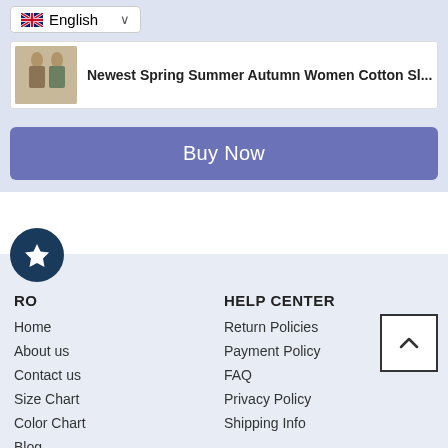English (language selector)
Newest Spring Summer Autumn Women Cotton Sl...
Buy Now
RO
HELP CENTER
Home
About us
Contact us
Size Chart
Color Chart
Blog
Testimonials
Ombreprom
Return Policies
Payment Policy
FAQ
Privacy Policy
Shipping Info